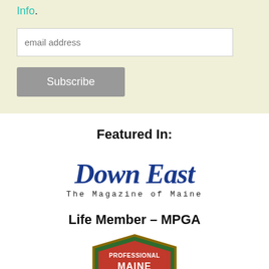Info.
[Figure (screenshot): Email address input field with placeholder text 'email address']
[Figure (screenshot): Gray 'Subscribe' button]
Featured In:
[Figure (logo): Down East - The Magazine of Maine logo in blue script font]
Life Member – MPGA
[Figure (logo): Maine Professional Guides Association shield badge logo in red, green and gold colors with text 'PROFESSIONAL MAINE']